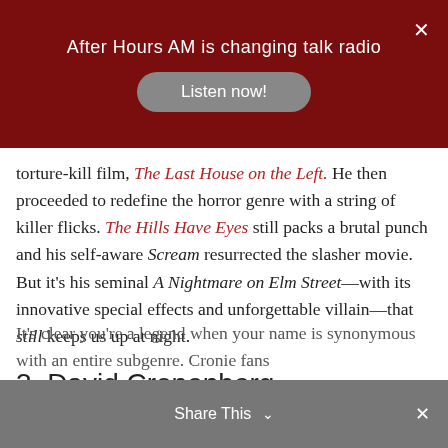After Hours AM is changing talk radio
torture-kill film, The Last House on the Left. He then proceeded to redefine the horror genre with a string of killer flicks. The Hills Have Eyes still packs a brutal punch and his self-aware Scream resurrected the slasher movie. But it's his seminal A Nightmare on Elm Street—with its innovative special effects and unforgettable villain—that still keeps us up at night.
3. David Cronenberg
[Figure (photo): Still from The Brood via New World Pictures — image placeholder showing alt text 'best horror directors the brood']
Still from The Brood via New World Pictures
It's clear you're a legend when your name is synonymous with an entire subgenre. Cronie fans